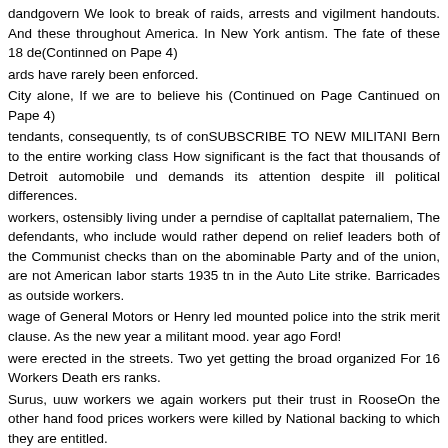dandgovern We look to break of raids, arrests and vigilment handouts. And these throughout America. In New York antism. The fate of these 18 de(Continned on Pape 4)
ards have rarely been enforced.
City alone, If we are to believe his (Continued on Page Cantinued on Pape 4)
tendants, consequently, ts of conSUBSCRIBE TO NEW MILITANI Bern to the entire working class How significant is the fact that thousands of Detroit automobile und demands its attention despite ill political differences.
workers, ostensibly living under a perndise of capltallat paternaliem, The defendants, who include would rather depend on relief leaders both of the Communist checks than on the abominable Party and of the union, are not American labor starts 1935 tn in the Auto Lite strike. Barricades as outside workers.
wage of General Motors or Henry led mounted police into the strik merit clause. As the new year a militant mood. year ago Ford!
were erected in the streets. Two yet getting the broad organized For 16 Workers Death ers ranks.
Surus, uuw workers we again workers put their trust in RooseOn the other hand food prices workers were killed by National backing to which they are entitled.
The largest strike oeeurred in The National Longshoremen O rely